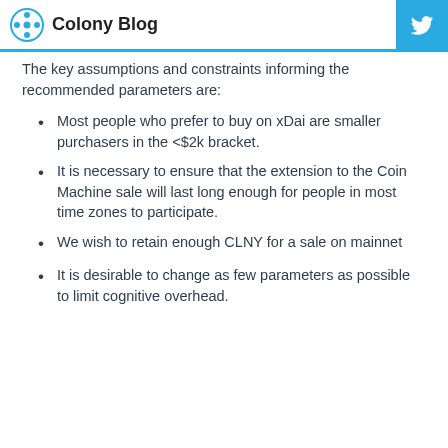Colony Blog
The key assumptions and constraints informing the recommended parameters are:
Most people who prefer to buy on xDai are smaller purchasers in the <$2k bracket.
It is necessary to ensure that the extension to the Coin Machine sale will last long enough for people in most time zones to participate.
We wish to retain enough CLNY for a sale on mainnet
It is desirable to change as few parameters as possible to limit cognitive overhead.